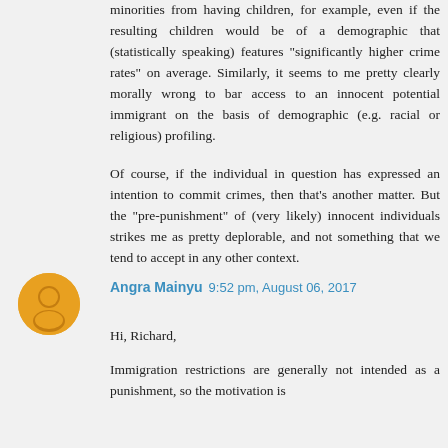minorities from having children, for example, even if the resulting children would be of a demographic that (statistically speaking) features "significantly higher crime rates" on average. Similarly, it seems to me pretty clearly morally wrong to bar access to an innocent potential immigrant on the basis of demographic (e.g. racial or religious) profiling.
Of course, if the individual in question has expressed an intention to commit crimes, then that's another matter. But the "pre-punishment" of (very likely) innocent individuals strikes me as pretty deplorable, and not something that we tend to accept in any other context.
Angra Mainyu  9:52 pm, August 06, 2017
Hi, Richard,
Immigration restrictions are generally not intended as a punishment, so the motivation is different. A travelling analogy: the store can...